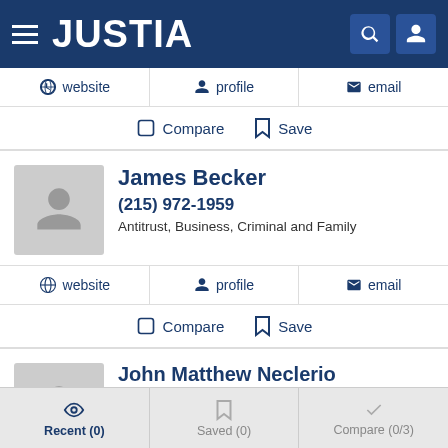JUSTIA
website  profile  email
Compare  Save
James Becker
(215) 972-1959
Antitrust, Business, Criminal and Family
website  profile  email
Compare  Save
John Matthew Neclerio
(215) 979-1382
Antitrust, Business, Communications and IP
Recent (0)  Saved (0)  Compare (0/3)